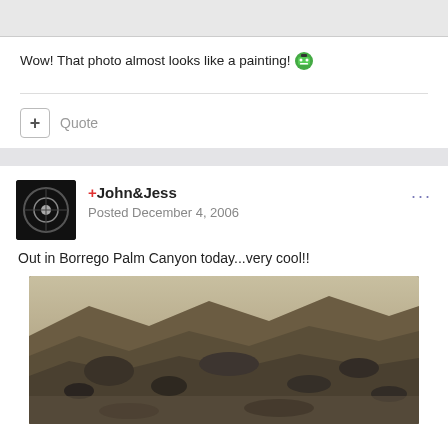[Figure (photo): Partial image placeholder at top of page, gray background]
Wow! That photo almost looks like a painting! [emoji]
+ Quote
+John&Jess
Posted December 4, 2006
Out in Borrego Palm Canyon today...very cool!!
[Figure (photo): Rocky terrain photo from Borrego Palm Canyon, showing brown and gray rocks and gravel]